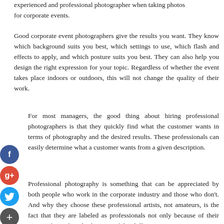experienced and professional photographer when taking photos for corporate events.
Good corporate event photographers give the results you want. They know which background suits you best, which settings to use, which flash and effects to apply, and which posture suits you best. They can also help you design the right expression for your topic. Regardless of whether the event takes place indoors or outdoors, this will not change the quality of their work.
For most managers, the good thing about hiring professional photographers is that they quickly find what the customer wants in terms of photography and the desired results. These professionals can easily determine what a customer wants from a given description.
Professional photography is something that can be appreciated by both people who work in the corporate industry and those who don't. And why they choose these professional artists, not amateurs, is the fact that they are labeled as professionals not only because of their passion for art but also because of the skills